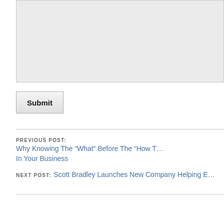[Figure (other): A text area input box with light gray background]
Submit
PREVIOUS POST: Why Knowing The “What” Before The “How T… In Your Business
NEXT POST: Scott Bradley Launches New Company Helping E…